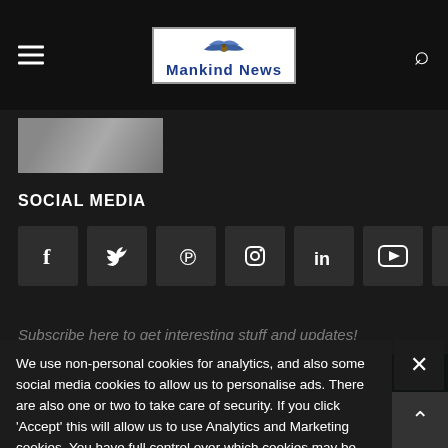Mankind News - navigation header with hamburger menu, logo, and search icon
[Figure (photo): Thumbnail image partially visible, showing a person in white clothing]
SOCIAL MEDIA
[Figure (infographic): Row of social media icons: Facebook, Twitter, Pinterest, Instagram, LinkedIn, YouTube, RSS]
Subscribe here to get interesting stuff and updates!
We use non-personal cookies for analytics, and also some social media cookies to allow us to personalise ads. There are also one or two to take care of security. If you click 'Accept' this will allow us to use Analytics and Marketing cookies. You have full control over which cookies may be set by clicking 'Settings'.
Copyright 2020 Mankinднews.com- All Rights Reserved
Terms & Conditions